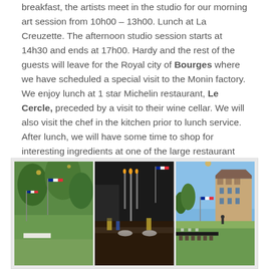breakfast, the artists meet in the studio for our morning art session from 10h00 – 13h00. Lunch at La Creuzette. The afternoon studio session starts at 14h30 and ends at 17h00. Hardy and the rest of the guests will leave for the Royal city of Bourges where we have scheduled a special visit to the Monin factory. We enjoy lunch at 1 star Michelin restaurant, Le Cercle, preceded by a visit to their wine cellar. We will also visit the chef in the kitchen prior to lunch service. After lunch, we will have some time to shop for interesting ingredients at one of the large restaurant suppliers in the city and also to visit the magnificent cathedral. We return to La Creuzette and later in the evening, we all meet for a classical music concert followed by dinner.
[Figure (photo): Three side-by-side photographs showing outdoor dining setup at La Creuzette with French flags, candlesticks, long tables set for dinner, and a chateau building visible in the right photo.]